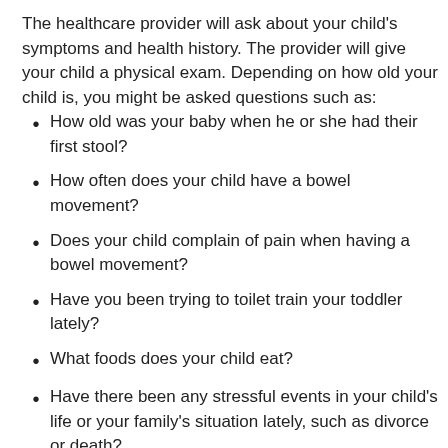The healthcare provider will ask about your child's symptoms and health history. The provider will give your child a physical exam. Depending on how old your child is, you might be asked questions such as:
How old was your baby when he or she had their first stool?
How often does your child have a bowel movement?
Does your child complain of pain when having a bowel movement?
Have you been trying to toilet train your toddler lately?
What foods does your child eat?
Have there been any stressful events in your child's life or your family's situation lately, such as divorce or death?